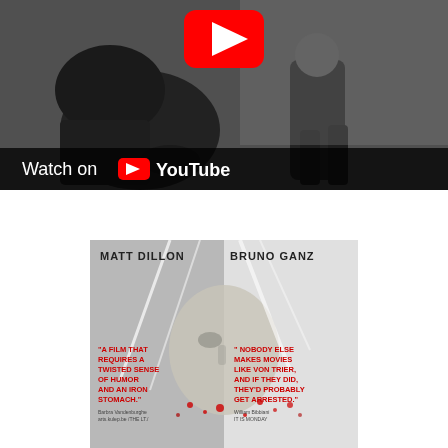[Figure (screenshot): YouTube video thumbnail showing two men in a fight scene with dark clothing against a white brick wall background. A red YouTube play button icon is visible at the top center. At the bottom left, text reads 'Watch on YouTube' with the YouTube logo.]
[Figure (photo): Movie poster for a film featuring Matt Dillon and Bruno Ganz. The poster shows a face wrapped in plastic/film with bloodstains. Left side reads 'MATT DILLON' and has a red quote: 'A FILM THAT REQUIRES A TWISTED SENSE OF HUMOR AND AN IRON STOMACH.' Right side reads 'BRUNO GANZ' and has a red quote: 'NOBODY ELSE MAKES MOVIES LIKE VON TRIER, AND IF THEY DID, THEY'D PROBABLY GET ARRESTED.']